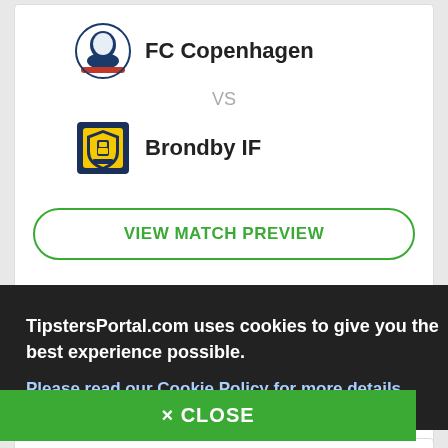FC Copenhagen
VS
Brondby IF
VIEW MATCH PREVIEW
Telia Parken
TipstersPortal.com uses cookies to give you the best experience possible.
Please read our Cookie Policy for more details.
× CLOSE
Kashima Antlers